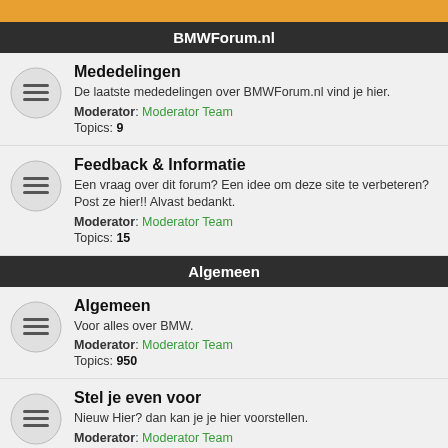BMWForum.nl
Mededelingen
De laatste mededelingen over BMWForum.nl vind je hier.
Moderator: Moderator Team
Topics: 9
Feedback & Informatie
Een vraag over dit forum? Een idee om deze site te verbeteren? Post ze hier!! Alvast bedankt.
Moderator: Moderator Team
Topics: 15
Algemeen
Algemeen
Voor alles over BMW.
Moderator: Moderator Team
Topics: 950
Stel je even voor
Nieuw Hier? dan kan je je hier voorstellen.
Moderator: Moderator Team
Topics: 2913